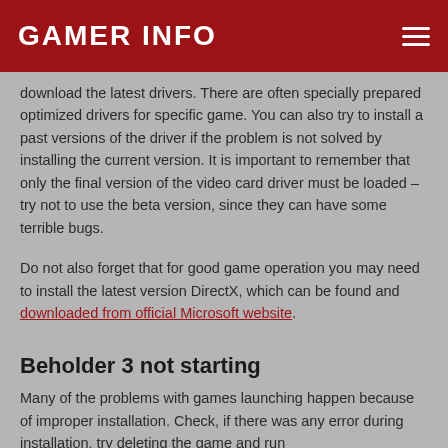GAMER INFO
download the latest drivers. There are often specially prepared optimized drivers for specific game. You can also try to install a past versions of the driver if the problem is not solved by installing the current version. It is important to remember that only the final version of the video card driver must be loaded – try not to use the beta version, since they can have some terrible bugs.
Do not also forget that for good game operation you may need to install the latest version DirectX, which can be found and downloaded from official Microsoft website.
Beholder 3 not starting
Many of the problems with games launching happen because of improper installation. Check, if there was any error during installation, try deleting the game and run